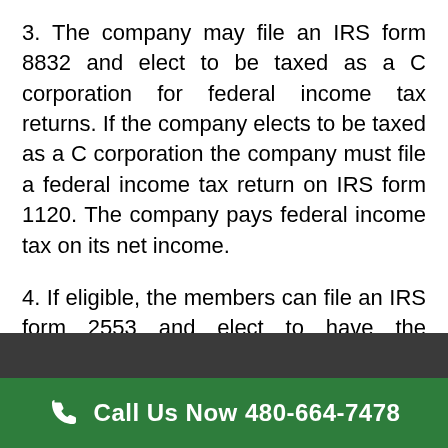3.  The company may file an IRS form 8832 and elect to be taxed as a C corporation for federal income tax returns.  If the company elects to be taxed as a C corporation the company must file a federal income tax return on IRS form 1120.  The company pays federal income tax on its net income.
4.  If eligible, the members can file an IRS form 2553 and elect to have the company taxed as an S corporation for federal income tax purposes.  The election to be taxed as an S corporation must be made
Call Us Now 480-664-7478